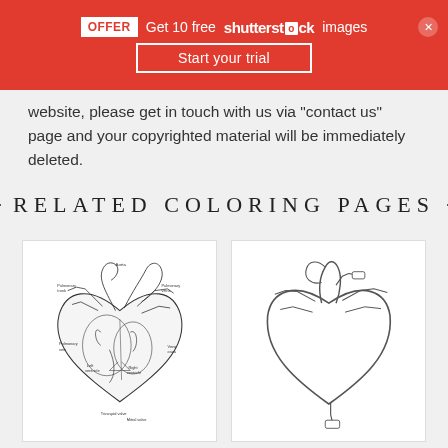OFFER Get 10 free shutterstock images
Start your trial
website, please get in touch with us via "contact us" page and your copyrighted material will be immediately deleted.
RELATED COLORING PAGES
[Figure (illustration): Anatomical diagram of the human heart showing internal structures, blood flow arrows, and labeled parts including arteries, veins, atria, and ventricles]
[Figure (illustration): Simple outline drawing of a human heart showing external anatomy with vessels, suitable as a coloring page]